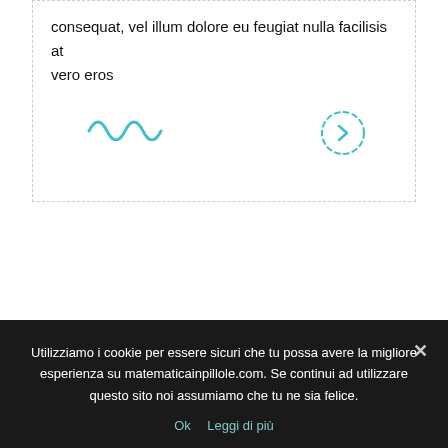consequat, vel illum dolore eu feugiat nulla facilisis at vero eros
[Figure (illustration): Cyan wavy/zigzag line symbol]
[Figure (illustration): Dashed circle with right-pointing chevron arrow]
Utilizziamo i cookie per essere sicuri che tu possa avere la migliore esperienza su matematicainpillole.com. Se continui ad utilizzare questo sito noi assumiamo che tu ne sia felice.
Ok   Leggi di più